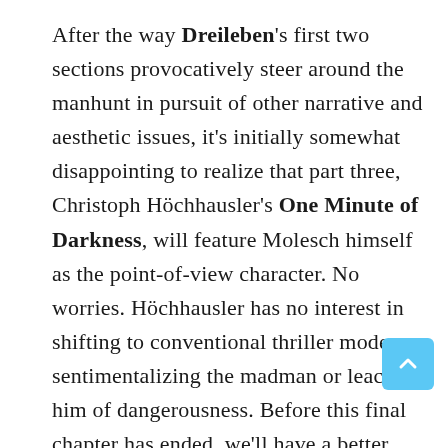After the way Dreileben's first two sections provocatively steer around the manhunt in pursuit of other narrative and aesthetic issues, it's initially somewhat disappointing to realize that part three, Christoph Höchhausler's One Minute of Darkness, will feature Molesch himself as the point-of-view character. No worries. Höchhausler has no interest in shifting to conventional thriller mode, or sentimentalizing the madman or leaching him of dangerousness. Before this final chapter has ended, we'll have a better idea of the extent and nature of Molesch's madness and guilt, but without explaining them away or reducing their horror. We'll have revisited scenes from the earlier movies, but from a different angle and within a different context that adjusts meaning, motive, and understanding. This third section, like the first, is shot in razor-sharp hi-